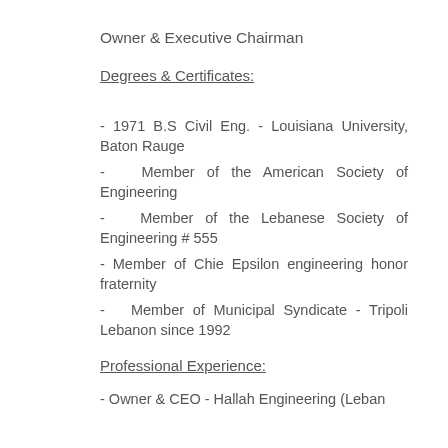Owner & Executive Chairman
Degrees & Certificates:
- 1971 B.S Civil Eng. - Louisiana University, Baton Rauge
- Member of the American Society of Engineering
- Member of the Lebanese Society of Engineering # 555
- Member of Chie Epsilon engineering honor fraternity
- Member of Municipal Syndicate - Tripoli Lebanon since 1992
Professional Experience:
Owner & CEO - Hallah Engineering (Leban...